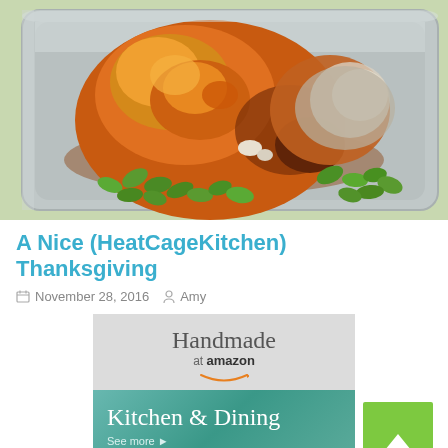[Figure (photo): A roasted chicken/turkey in a foil roasting pan with green vegetables (edamame or Brussels sprouts) around it, viewed from above on a light surface.]
A Nice (HeatCageKitchen) Thanksgiving
November 28, 2016  Amy
[Figure (screenshot): Amazon Handmade advertisement banner showing 'Handmade at amazon' logo at top on grey background, with a teal/green 'Kitchen & Dining - See more' banner below and a lime green arrow/chevron button on the right side.]